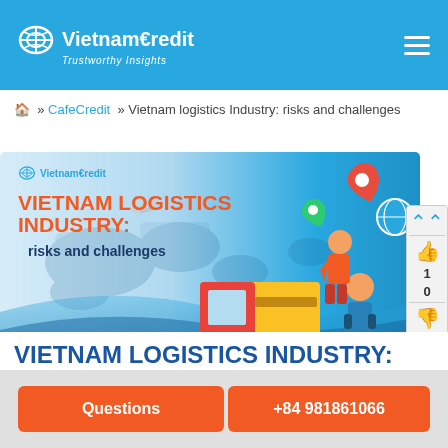VietnamCredit — Trustworthy Insights
🏠 » CafeCredit » Vietnam logistics Industry: risks and challenges
[Figure (illustration): VietnamCredit branded banner for 'Vietnam Logistics Industry: risks and challenges' showing a world map background, delivery truck, logistics workers, location pins, and parcels in a blue/orange color scheme.]
VIETNAM LOGISTICS INDUSTRY:
Questions
+84 981861066